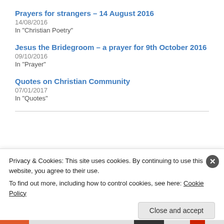Prayers for strangers – 14 August 2016
14/08/2016
In "Christian Poetry"
Jesus the Bridegroom – a prayer for 9th October 2016
09/10/2016
In "Prayer"
Quotes on Christian Community
07/01/2017
In "Quotes"
13/09/2015
Leave a Reply
Privacy & Cookies: This site uses cookies. By continuing to use this website, you agree to their use.
To find out more, including how to control cookies, see here: Cookie Policy